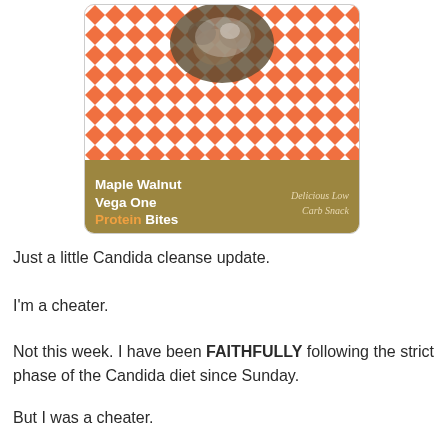[Figure (photo): Photo of Maple Walnut Vega One Protein Bites on an orange houndstooth fabric background, with a gold/olive label bar reading 'Maple Walnut Vega One Protein Bites – Delicious Low Carb Snack']
Just a little Candida cleanse update.
I'm a cheater.
Not this week. I have been FAITHFULLY following the strict phase of the Candida diet since Sunday.
But I was a cheater.
I thought I was off the strict phase, and I think I committed...